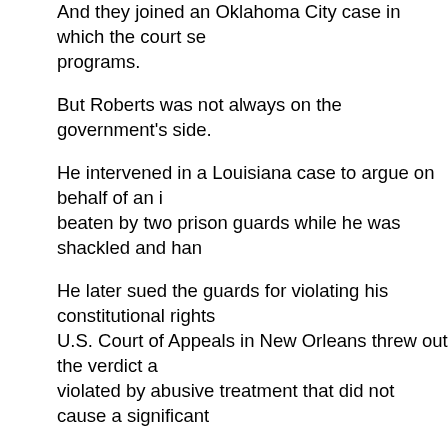And they joined an Oklahoma City case in which the court se programs.
But Roberts was not always on the government's side.
He intervened in a Louisiana case to argue on behalf of an i beaten by two prison guards while he was shackled and han
He later sued the guards for violating his constitutional rights U.S. Court of Appeals in New Orleans threw out the verdict a violated by abusive treatment that did not cause a significant
Roberts spotted the case and said he was troubled by the lo suits from prisoners were a problem, this was not a frivolous should the law condone the "unnecessary and wanton inflict
The high court agreed in a 7-2 ruling written by Justice Sand Thomas and Scalia dissented.
Democrats on the Senate Judiciary Committee, which will ho the high court, have demanded to see the memos he wrote i Starr's office. They say they want to see how Roberts analyz administration's position was also his.
His friend Cooper, who was also a veteran of the Reagan ad that Roberts and his own news with the law he was to be